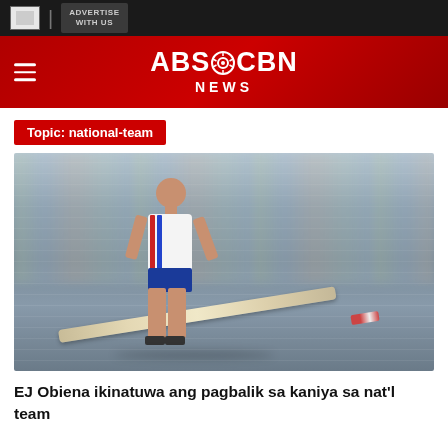[Figure (screenshot): ABS-CBN News website header with logo on red background and hamburger menu, plus top dark ad bar with Advertise With Us button]
Topic: national-team
[Figure (photo): Action photo of EJ Obiena, a Filipino pole vaulter in white jersey holding a pole vault pole, running on track with blurred stadium crowd background]
EJ Obiena ikinatuwa ang pagbalik sa kaniya sa nat'l team